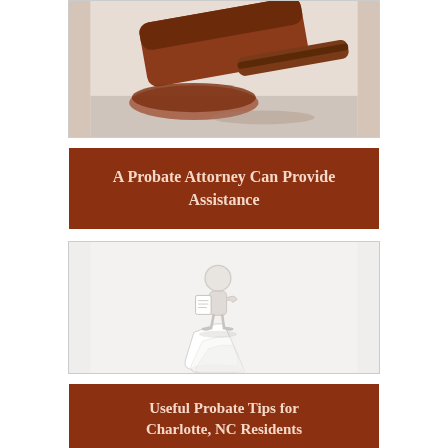[Figure (photo): Close-up photo of a wooden judge's gavel on a reflective surface, warm reddish-brown tones]
A Probate Attorney Can Provide Assistance
[Figure (illustration): 3D white stick figure character holding a document, standing on a long curling paper/document trail]
Useful Probate Tips for Charlotte, NC Residents